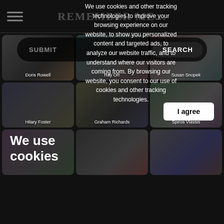REMEMBER ME...
[Figure (screenshot): Background grid of person photo cards including Doris Rowell, Ray Orr, Susan Snopek, Hilary Foster, Graham Richards, Spiros Vlassis, and others]
We use cookies
We use cookies and other tracking technologies to improve your browsing experience on our website, to show you personalized content and targeted ads, to analyze our website traffic, and to understand where our visitors are coming from. By browsing our website, you consent to our use of cookies and other tracking technologies.
I agree